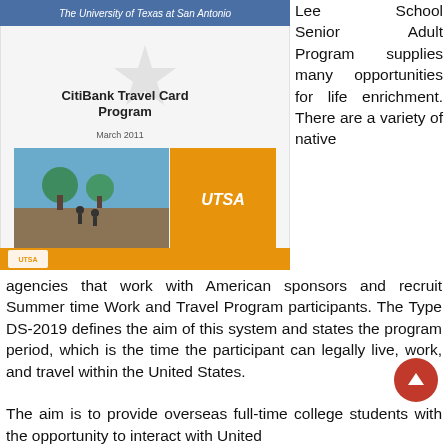[Figure (screenshot): Screenshot of a UTSA CitiBank Travel Card Program presentation slide dated March 2011, with the University of Texas at San Antonio header, a campus photo, and UTSA logo on an orange background.]
Lee School Senior Adult Program supplies many opportunities for life enrichment. There are a variety of native agencies that work with American sponsors and recruit Summer time Work and Travel Program participants. The Type DS-2019 defines the aim of this system and states the program period, which is the time the participant can legally live, work, and travel within the United States.
The aim is to provide overseas full-time college students with the opportunity to interact with United